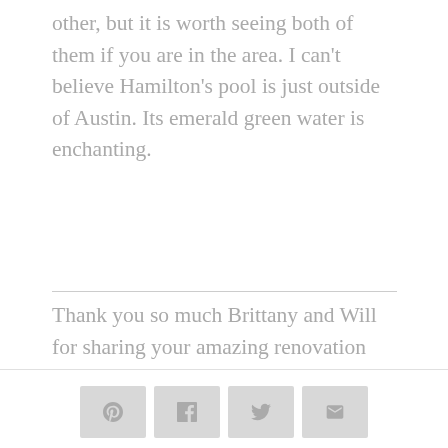other, but it is worth seeing both of them if you are in the area. I can’t believe Hamilton’s pool is just outside of Austin. Its emerald green water is enchanting.
Thank you so much Brittany and Will for sharing your amazing renovation with us, and we can’t wait to see what else you do!
[Figure (other): Social share buttons row: Pinterest, Facebook, Twitter, Email icons in light gray rounded rectangle buttons]